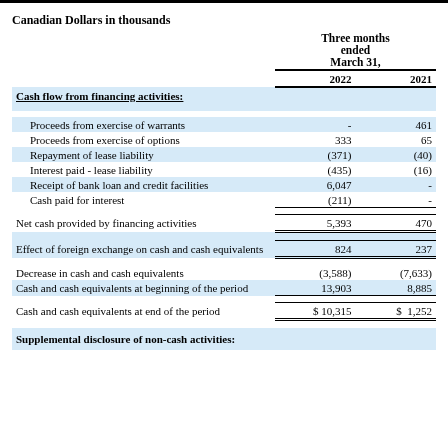Canadian Dollars in thousands
|  | Three months ended March 31, 2022 | Three months ended March 31, 2021 |
| --- | --- | --- |
| Cash flow from financing activities: |  |  |
| Proceeds from exercise of warrants | - | 461 |
| Proceeds from exercise of options | 333 | 65 |
| Repayment of lease liability | (371) | (40) |
| Interest paid - lease liability | (435) | (16) |
| Receipt of bank loan and credit facilities | 6,047 | - |
| Cash paid for interest | (211) | - |
| Net cash provided by financing activities | 5,393 | 470 |
| Effect of foreign exchange on cash and cash equivalents | 824 | 237 |
| Decrease in cash and cash equivalents | (3,588) | (7,633) |
| Cash and cash equivalents at beginning of the period | 13,903 | 8,885 |
| Cash and cash equivalents at end of the period | $ 10,315 | $  1,252 |
| Supplemental disclosure of non-cash activities: |  |  |